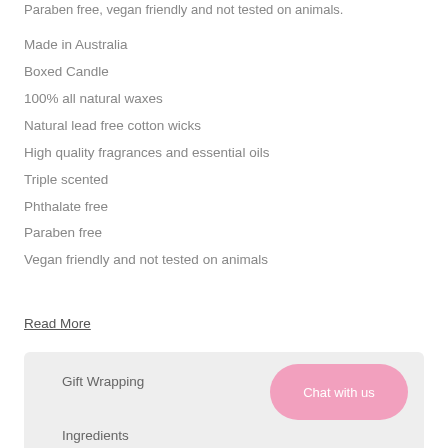Paraben free, vegan friendly and not tested on animals.
Made in Australia
Boxed Candle
100% all natural waxes
Natural lead free cotton wicks
High quality fragrances and essential oils
Triple scented
Phthalate free
Paraben free
Vegan friendly and not tested on animals
Read More
Gift Wrapping
Chat with us
Ingredients